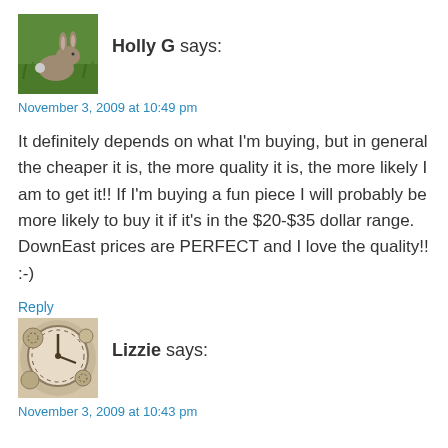[Figure (photo): Avatar photo of a rabbit on green grass]
Holly G says:
November 3, 2009 at 10:49 pm
It definitely depends on what I'm buying, but in general the cheaper it is, the more quality it is, the more likely I am to get it!! If I'm buying a fun piece I will probably be more likely to buy it if it's in the $20-$35 dollar range. DownEast prices are PERFECT and I love the quality!! :-)
Reply
[Figure (photo): Avatar photo showing a decorative clock face collage]
Lizzie says:
November 3, 2009 at 10:43 pm